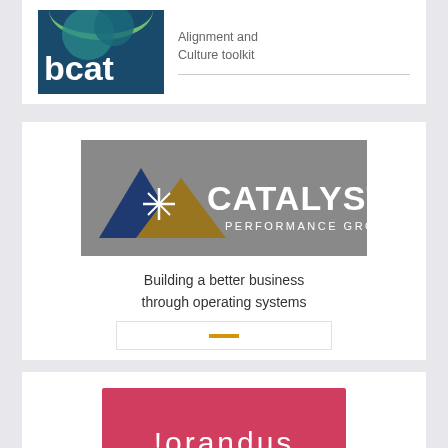[Figure (logo): bcat logo - partial card at top, teal and dark blue logo with text 'bcat', tagline 'Alignment and Culture toolkit']
[Figure (logo): Catalyst Performance Group logo - grey banner with mountain/star graphic and white text 'CATALYST PERFORMANCE GROUP']
Building a better business through operating systems
[Figure (logo): lorandus logo - pink/red rectangle with white lowercase text 'lorandus']
Engage. Partner. Inspire.
[Figure (logo): Partial logo visible at bottom of page]